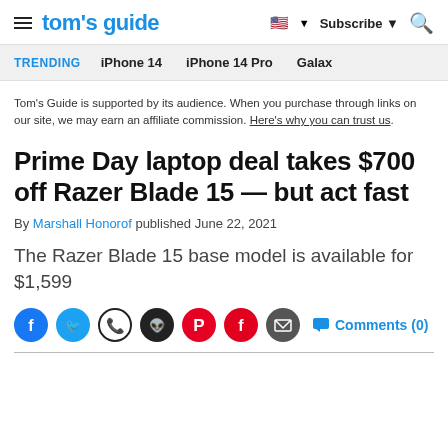tom's guide | Subscribe | Search
TRENDING   iPhone 14   iPhone 14 Pro   Galaxy
Tom's Guide is supported by its audience. When you purchase through links on our site, we may earn an affiliate commission. Here's why you can trust us.
Prime Day laptop deal takes $700 off Razer Blade 15 — but act fast
By Marshall Honorof published June 22, 2021
The Razer Blade 15 base model is available for $1,599